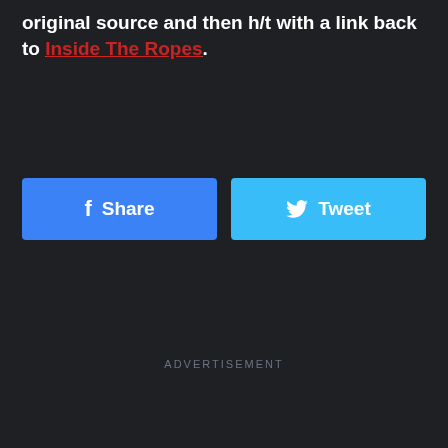original source and then h/t with a link back to Inside The Ropes.
[Figure (other): Facebook Share button and Twitter Tweet button side by side]
ADVERTISEMENT